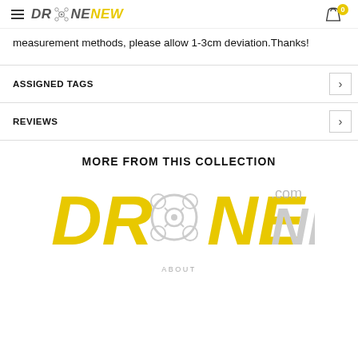DRONENEW [logo with drone icon] 0
measurement methods, please allow 1-3cm deviation.Thanks!
ASSIGNED TAGS
REVIEWS
MORE FROM THIS COLLECTION
[Figure (logo): DroneNew.com large logo with yellow DR and NE text, drone icon in the O, and gray NEW italic text]
ABOUT